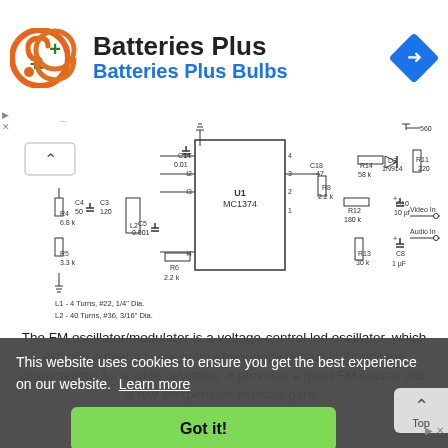[Figure (other): Batteries Plus Bulbs advertisement banner with orange circular logo with plus sign and a blue diamond navigation arrow icon]
[Figure (circuit-diagram): FM oscillator/modulator circuit schematic featuring MC1374 IC, inductors L1 and L2, capacitors C3-C18, resistors R4-R14, diode D2 (1N914), with Video In and Audio In connections. L1=4 Turns #22 1/4 Dia., L2=40 Turns #36 3/16 Dia.]
The FM oscillator/modulator is a voltage-control led oscillator, which exhibits a nearly linear output frequency versus input voltage characteristic for a wide deviation. It provides a good FM source with a few inexpensive external parts.
This website uses cookies to ensure you get the best experience on our website.  Learn more
Got it!
Coilcraft, Inc